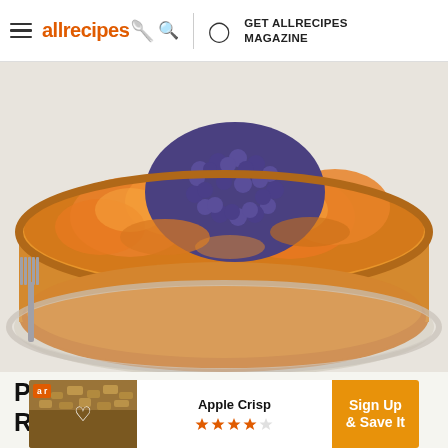allrecipes | GET ALLRECIPES MAGAZINE
[Figure (photo): Close-up photo of an upside-down cake with caramelized peach slices and blueberries on top, golden brown cake sides, presented on a glass plate.]
Plum, Peach, and Pear Dessert Recipes for Late Summer
[Figure (infographic): Advertisement banner showing Apple Crisp recipe with a photo of apple crisp, heart icon, star ratings, and 'Sign Up & Save It' call-to-action button in orange.]